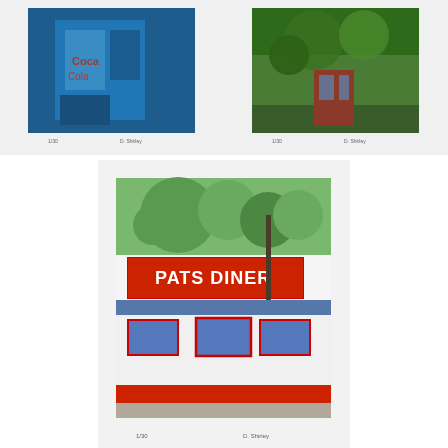[Figure (photo): Top-left artwork print showing a blue building/door scene with small caption text below. Print on white mat paper.]
[Figure (photo): Top-right artwork print showing a green tropical/foliage scene with small caption text below. Print on white mat paper.]
[Figure (photo): Center artwork print of Pat's Diner — a classic American diner exterior with red signage reading 'PATS DINER', white and red facade, trees in background. Print on white mat paper with pencil signature.]
Signs and cityscapes.
The art of Debbie Shirley captures local places you have been — or perhaps wish that you had seen. Shirley's award-winning acrylic paintings are part of collections and exhibitions worldwide, and can be seen locally at Helen Thomas Stock Several to An by Nimble (Contact...